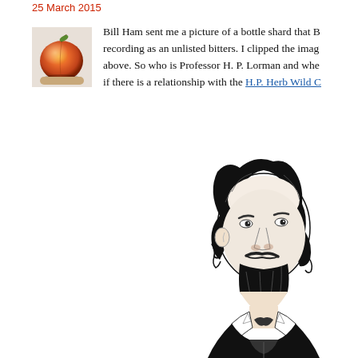25 March 2015
[Figure (photo): Small thumbnail photo of an orange/peach fruit resting on a surface]
Bill Ham sent me a picture of a bottle shard that B recording as an unlisted bitters. I clipped the imag above. So who is Professor H. P. Lorman and whe if there is a relationship with the H.P. Herb Wild C
[Figure (illustration): Black and white engraving-style portrait illustration of a 19th century gentleman with curly hair, mustache, and beard, wearing a coat and cravat, facing right]